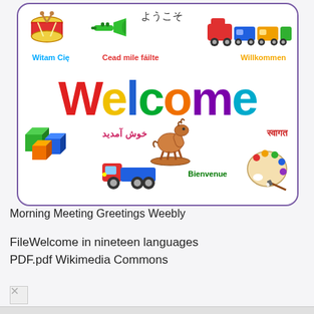[Figure (illustration): Welcome graphic with multilingual greetings and toy clipart. Large colorful 'Welcome' text in the center with greetings in Japanese (ようこそ), Polish (Witam Cię), Irish (Cead mile fáilte), German (Willkommen), Urdu (خوش آمدید), Hindi (स्वागत), French (Bienvenue). Toys include drum, trumpet, train, building blocks, rocking horse, toy truck, paint palette.]
Morning Meeting Greetings Weebly
FileWelcome in nineteen languages PDF.pdf Wikimedia Commons
[Figure (photo): Broken/missing image placeholder]